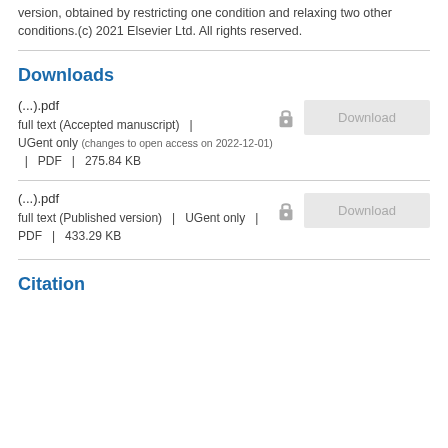version, obtained by restricting one condition and relaxing two other conditions.(c) 2021 Elsevier Ltd. All rights reserved.
Downloads
(...).pdf
full text (Accepted manuscript)  |
UGent only (changes to open access on 2022-12-01)  |  PDF  |  275.84 KB
(...).pdf
full text (Published version)  |  UGent only  |
PDF  |  433.29 KB
Citation